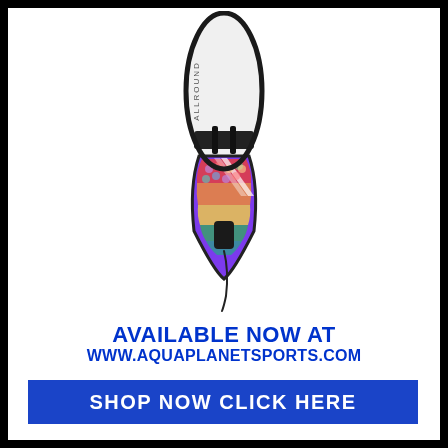[Figure (photo): Product photo of a colorful rainbow-patterned SUP (stand-up paddleboard) fin/board tail seen from above, white deck with 'ALLROUND' text, and vibrant multi-colored hexagonal pattern design on the fin, black border/strap details, on white background.]
AVAILABLE NOW AT
WWW.AQUAPLANETSPORTS.COM
SHOP NOW CLICK HERE